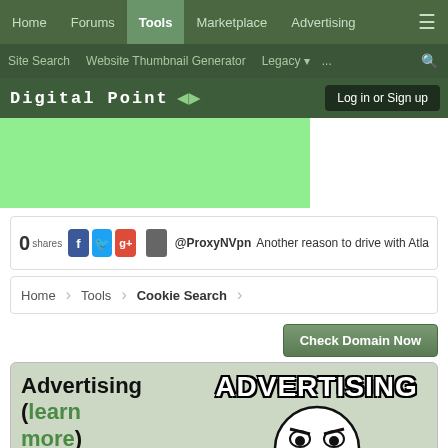Home | Forums | Tools | Marketplace | Advertising
Site Search | Website Thumbnail Generator | Legacy | ...
Digital Point — Log in or Sign up
[Figure (screenshot): Green advertisement banner area]
0 shares [Facebook] [Twitter] [Google+] @ProxyNVpn Another reason to drive with Atla...
Home > Tools > Cookie Search
Check Domain Now
Advertising (learn more)

Advertise virtually anything here.
[Figure (illustration): Y U NO meme illustration with ADVERTISING text and Y U NO DO IT? caption]